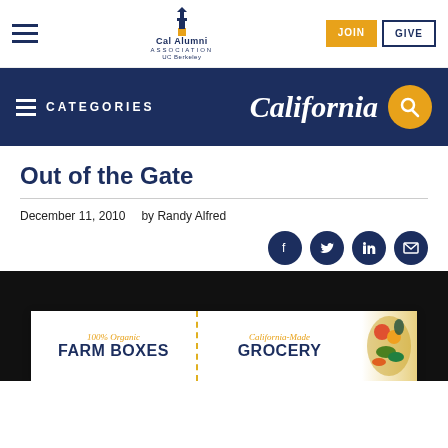[Figure (logo): Cal Alumni Association UC Berkeley logo with bell tower icon]
JOIN   GIVE
CATEGORIES
Out of the Gate
December 11, 2010   by Randy Alfred
[Figure (screenshot): 100% Organic FARM BOXES | California-Made GROCERY banner advertisement with vegetables]
California magazine wordmark and search icon